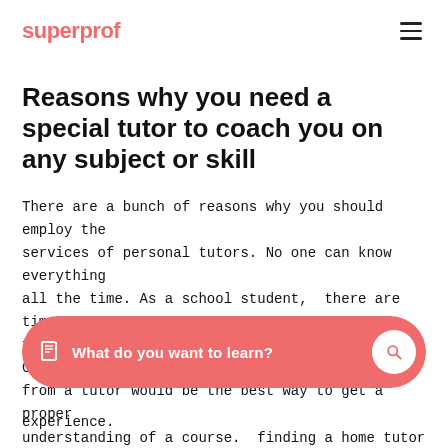superprof
Reasons why you need a special tutor to coach you on any subject or skill
There are a bunch of reasons why you should employ the services of personal tutors. No one can know everything all the time. As a school student, there are times you face difficulties in some of your subjects. Getting lessons from a tutor would be the best way to get a proper understanding of a course.  finding a home tutor is not
[Figure (other): Search bar with coral/salmon background, book icon on left, text 'What do you want to learn?', and white circular search button on right]
experience.